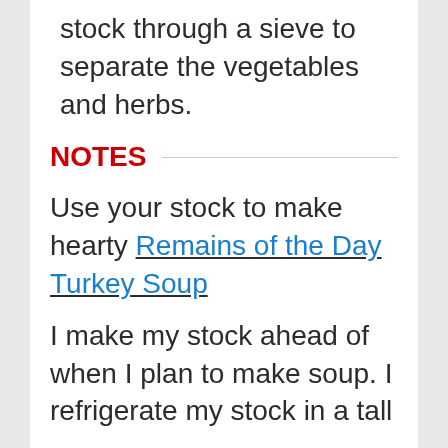stock through a sieve to separate the vegetables and herbs.
NOTES
Use your stock to make hearty Remains of the Day Turkey Soup
I make my stock ahead of when I plan to make soup. I refrigerate my stock in a tall